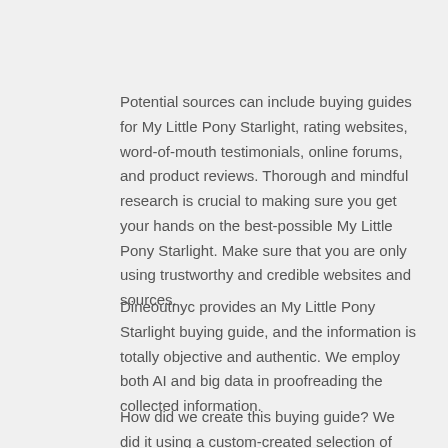Potential sources can include buying guides for My Little Pony Starlight, rating websites, word-of-mouth testimonials, online forums, and product reviews. Thorough and mindful research is crucial to making sure you get your hands on the best-possible My Little Pony Starlight. Make sure that you are only using trustworthy and credible websites and sources.
Dineoutnyc provides an My Little Pony Starlight buying guide, and the information is totally objective and authentic. We employ both AI and big data in proofreading the collected information.
How did we create this buying guide? We did it using a custom-created selection of algorithms that lets us